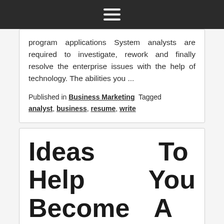☰
program applications System analysts are required to investigate, rework and finally resolve the enterprise issues with the help of technology. The abilities you ...
Published in Business Marketing  Tagged analyst, business, resume, write
Ideas To Help You Become A Higher Online Business Individual